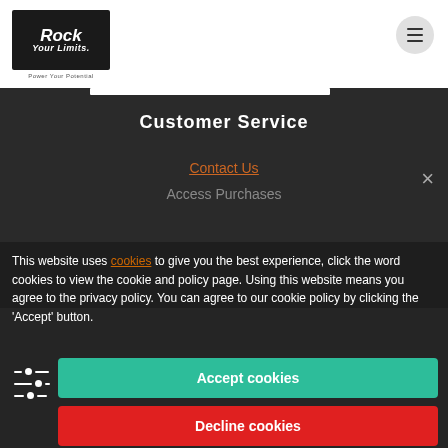[Figure (logo): Rock Your Limits logo — white text on dark background with tagline 'Power Your Potential']
[Figure (other): Hamburger menu button (three horizontal lines) in a grey circle]
Customer Service
Contact Us
Access Purchases
This website uses cookies to give you the best experience, click the word cookies to view the cookie and policy page. Using this website means you agree to the privacy policy. You can agree to our cookie policy by clicking the 'Accept' button.
[Figure (other): Cookie preference sliders icon]
Accept cookies
Decline cookies